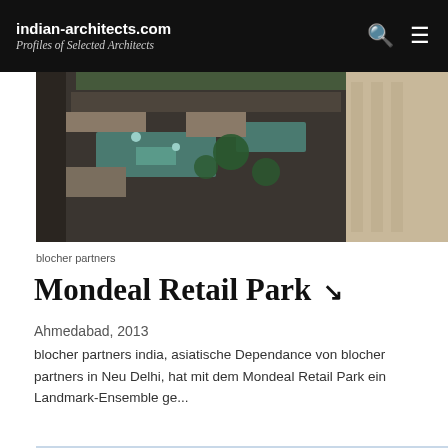indian-architects.com
Profiles of Selected Architects
[Figure (photo): Aerial view of Mondeal Retail Park courtyard with water features, palm trees, and modern concrete architecture]
blocher partners
Mondeal Retail Park ↗
Ahmedabad, 2013
blocher partners india, asiatische Dependance von blocher partners in Neu Delhi, hat mit dem Mondeal Retail Park ein Landmark-Ensemble ge...
[Figure (photo): Sky/exterior photo of Mondeal Retail Park building, partially visible at bottom of page]